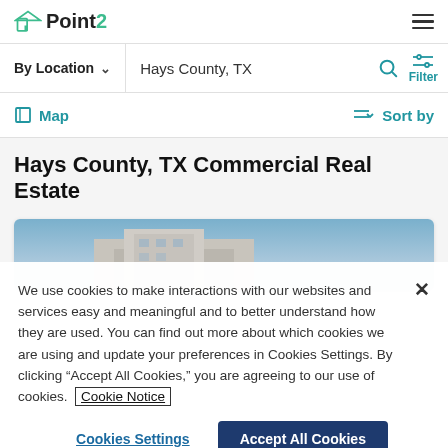Point2 logo and navigation
By Location  Hays County, TX  Filter
Map  Sort by
Hays County, TX Commercial Real Estate
[Figure (photo): Commercial building exterior photo, partially visible]
We use cookies to make interactions with our websites and services easy and meaningful and to better understand how they are used. You can find out more about which cookies we are using and update your preferences in Cookies Settings. By clicking “Accept All Cookies,” you are agreeing to our use of cookies.  Cookie Notice
Cookies Settings    Accept All Cookies